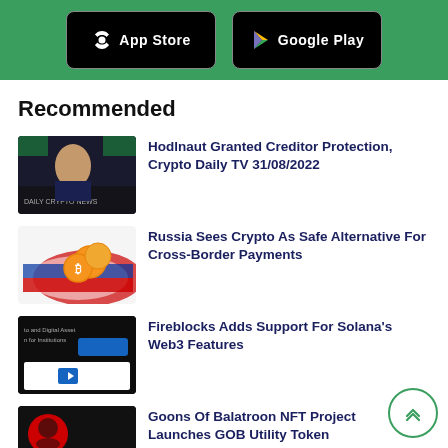[Figure (screenshot): Green banner with App Store and Google Play download buttons on black backgrounds]
Recommended
[Figure (photo): Thumbnail: woman in front of green/dark background, Daily Crypto News banner]
Hodlnaut Granted Creditor Protection, Crypto Daily TV 31/08/2022
[Figure (illustration): Thumbnail: Bitcoin coins over Russia map with Russian flag colors]
Russia Sees Crypto As Safe Alternative For Cross-Border Payments
[Figure (screenshot): Thumbnail: dark screen showing Fireblocks digital asset platform with blue UI]
Fireblocks Adds Support For Solana's Web3 Features
[Figure (photo): Thumbnail: dark background with red circle icon, partial view]
Goons Of Balatroon NFT Project Launches GOB Utility Token